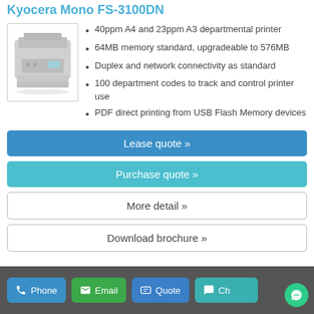Kyocera Mono FS-3100DN
[Figure (photo): Photo of Kyocera Mono FS-3100DN printer, a grey laser printer with paper trays]
40ppm A4 and 23ppm A3 departmental printer
64MB memory standard, upgradeable to 576MB
Duplex and network connectivity as standard
100 department codes to track and control printer use
PDF direct printing from USB Flash Memory devices
Lease quote »
Purchase quote »
More detail »
Download brochure »
Phone  Email  Quote  Chat